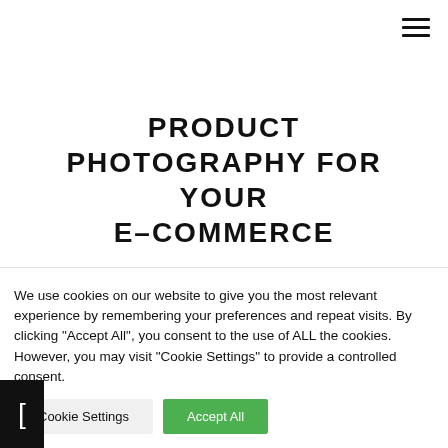[Figure (other): Hamburger menu icon (three horizontal lines) in top right corner]
PRODUCT PHOTOGRAPHY FOR YOUR E-COMMERCE
We use cookies on our website to give you the most relevant experience by remembering your preferences and repeat visits. By clicking “Accept All”, you consent to the use of ALL the cookies. However, you may visit "Cookie Settings" to provide a controlled consent.
Cookie Settings
Accept All